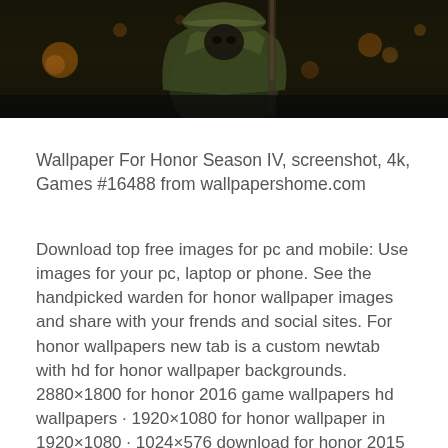[Figure (screenshot): Cropped game screenshot showing a character from For Honor Season IV, wearing green armor/hat, in a dark atmospheric environment with bokeh lights in the background.]
Wallpaper For Honor Season IV, screenshot, 4k, Games #16488 from wallpapershome.com
Download top free images for pc and mobile: Use images for your pc, laptop or phone. See the handpicked warden for honor wallpaper images and share with your frends and social sites. For honor wallpapers new tab is a custom newtab with hd for honor wallpaper backgrounds. 2880×1800 for honor 2016 game wallpapers hd wallpapers · 1920×1080 for honor wallpaper in 1920×1080 · 1024×576 download for honor 2015 game hd wallpaper